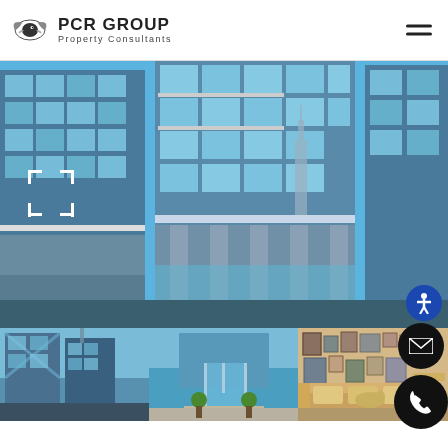[Figure (logo): PCR Group logo with stylized bird/fish icon]
PCR GROUP
Property Consultants
[Figure (photo): Main large photo of modern glass high-rise buildings with blue sky and Chicago landmark visible in background; smaller thumbnail photos below showing building exterior and lobby interior]
[Figure (infographic): UI overlay with expand/fullscreen icon, accessibility button (blue circle with person icon), email contact button (black circle with envelope), and phone contact button (black circle with phone icon)]